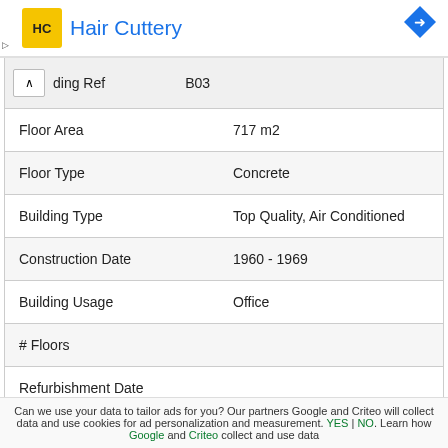Hair Cuttery
| Field | Value |
| --- | --- |
| ding Ref | B03 |
| Floor Area | 717 m2 |
| Floor Type | Concrete |
| Building Type | Top Quality, Air Conditioned |
| Construction Date | 1960 - 1969 |
| Building Usage | Office |
| # Floors |  |
| Refurbishment Date |  |
| Listed Building |  |
Can we use your data to tailor ads for you? Our partners Google and Criteo will collect data and use cookies for ad personalization and measurement. YES | NO. Learn how Google and Criteo collect and use data